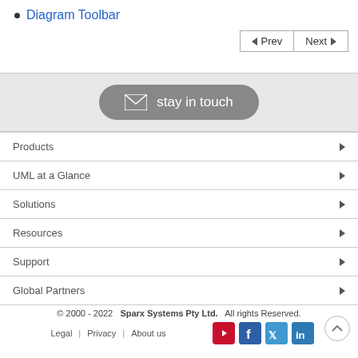Diagram Toolbar
[Figure (other): Prev and Next navigation buttons with left and right arrows]
[Figure (other): Stay in touch email button with envelope icon on grey rounded rectangle]
Products
UML at a Glance
Solutions
Resources
Support
Global Partners
© 2000 - 2022  Sparx Systems Pty Ltd.  All rights Reserved.
Legal  |  Privacy  |  About us